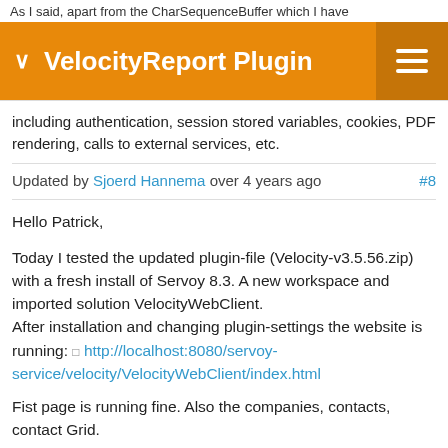As I said, apart from the CharSequenceBuffer which I have
VelocityReport Plugin
including authentication, session stored variables, cookies, PDF rendering, calls to external services, etc.
Updated by Sjoerd Hannema over 4 years ago #8
Hello Patrick,

Today I tested the updated plugin-file (Velocity-v3.5.56.zip) with a fresh install of Servoy 8.3. A new workspace and imported solution VelocityWebClient.
After installation and changing plugin-settings the website is running: http://localhost:8080/servoy-service/velocity/VelocityWebClient/index.html

Fist page is running fine. Also the companies, contacts, contact Grid.

Plugin is giving problems with contact list PDF. "HTTP Status 400 - java.lang.RuntimeException: Result is null for this request at "
JSON, XML is working. The XLS is also downloading a file. But